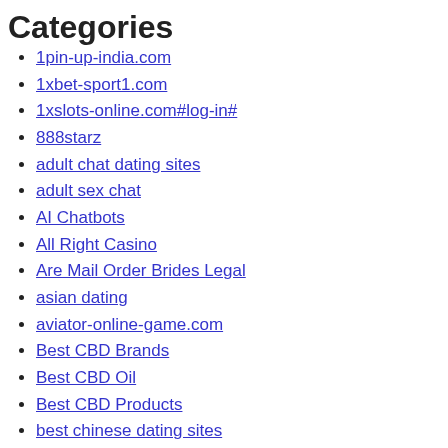Categories
1pin-up-india.com
1xbet-sport1.com
1xslots-online.com#log-in#
888starz
adult chat dating sites
adult sex chat
AI Chatbots
All Right Casino
Are Mail Order Brides Legal
asian dating
aviator-online-game.com
Best CBD Brands
Best CBD Oil
Best CBD Products
best chinese dating sites
best mail order brides